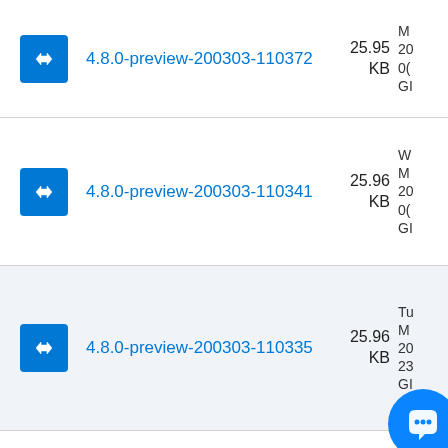4.8.0-preview-200303-110372  25.95 KB
4.8.0-preview-200303-110341  25.96 KB
4.8.0-preview-200303-110335  25.96 KB
4.8.0-preview-200303-110246  25.96 KB